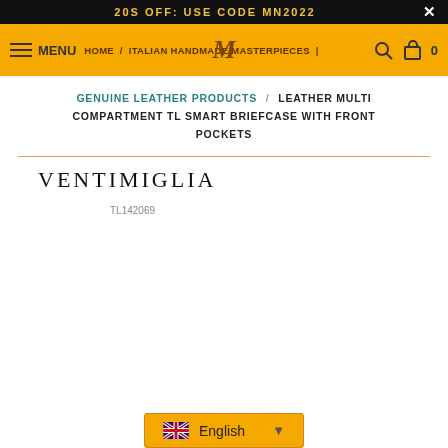20S OFF: USE CODE MN2022
MENU | HOME / ITALIAN HANDMADE MASTERPIECES | M | 0
GENUINE LEATHER PRODUCTS / LEATHER MULTI COMPARTMENT TL SMART BRIEFCASE WITH FRONT POCKETS
VENTIMIGLIA
TL142069
English